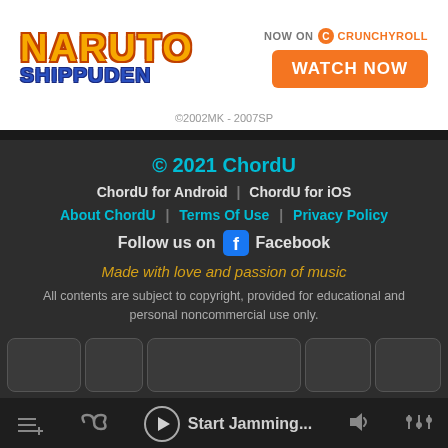[Figure (illustration): Naruto Shippuden anime advertisement banner with NARUTO SHIPPUDEN logo on left, 'NOW ON crunchyroll' branding and orange WATCH NOW button on right, copyright text '©2002MK - 2007SP' at bottom center]
© 2021 ChordU
ChordU for Android  |  ChordU for iOS
About ChordU  |  Terms Of Use  |  Privacy Policy
Follow us on  Facebook
Made with love and passion of music
All contents are subject to copyright, provided for educational and personal noncommercial use only.
[Figure (other): Row of chord/key buttons in rounded rectangle style on dark background]
Start Jamming...